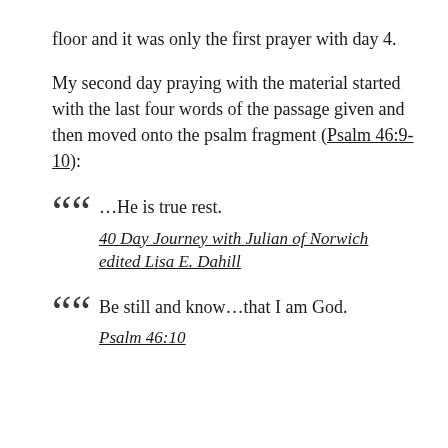floor and it was only the first prayer with day 4.
My second day praying with the material started with the last four words of the passage given and then moved onto the psalm fragment (Psalm 46:9-10):
““ …He is true rest.
40 Day Journey with Julian of Norwich edited Lisa E. Dahill
““ Be still and know…that I am God.
Psalm 46:10